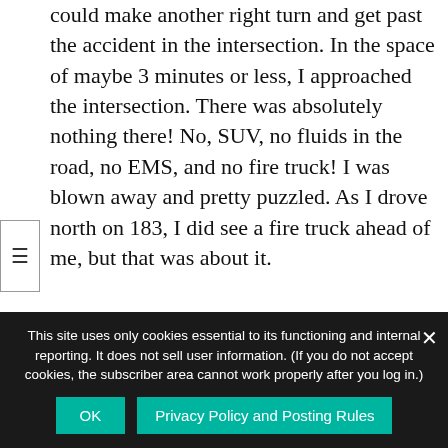could make another right turn and get past the accident in the intersection. In the space of maybe 3 minutes or less, I approached the intersection. There was absolutely nothing there! No, SUV, no fluids in the road, no EMS, and no fire truck! I was blown away and pretty puzzled. As I drove north on 183, I did see a fire truck ahead of me, but that was about it.

Someone please explain this me. The best that I can come up with is that I also somehow manipulated things. I just wanted to get home and not be stuck in traffic, and I guess my wish worked!
This site uses only cookies essential to its functioning and internal reporting. It does not sell user information. (If you do not accept cookies, the subscriber area cannot work properly after you log in.)